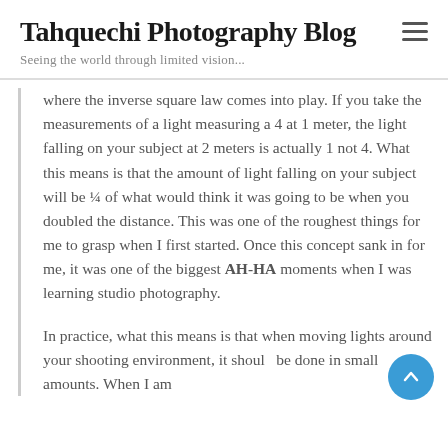Tahquechi Photography Blog
Seeing the world through limited vision...
where the inverse square law comes into play. If you take the measurements of a light measuring a 4 at 1 meter, the light falling on your subject at 2 meters is actually 1 not 4. What this means is that the amount of light falling on your subject will be ¼ of what would think it was going to be when you doubled the distance. This was one of the roughest things for me to grasp when I first started. Once this concept sank in for me, it was one of the biggest AH-HA moments when I was learning studio photography.
In practice, what this means is that when moving lights around your shooting environment, it should be done in small amounts. When I am